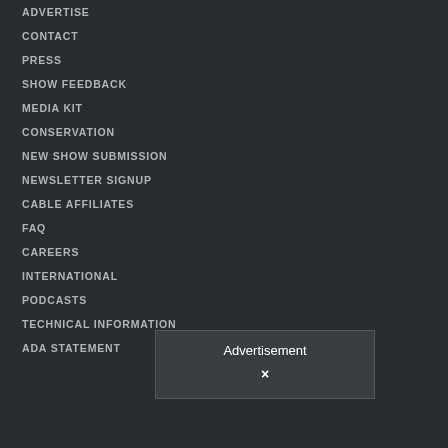ADVERTISE
CONTACT
PRESS
SHOW FEEDBACK
MEDIA KIT
CONSERVATION
NEW SHOW SUBMISSION
NEWSLETTER SIGNUP
CABLE AFFILIATES
FAQ
CAREERS
INTERNATIONAL
PODCASTS
TECHNICAL INFORMATION
ADA STATEMENT
Advertisement
×